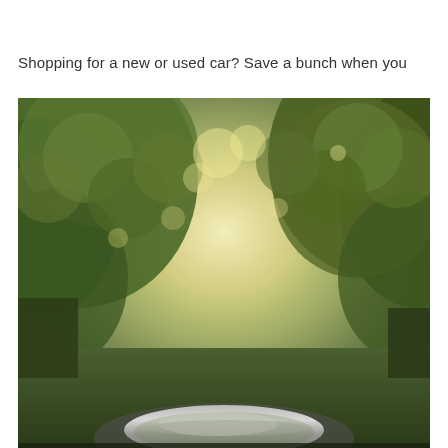Shopping for a new or used car? Save a bunch when you
[Figure (photo): View from the driver's perspective looking out through a car's hood/windshield area along a tree-lined road. The trees form a canopy overhead with green and golden foliage lit by sunlight filtering through the leaves. The car's chrome hood ornament or reflective surface is visible at the bottom center of the image.]